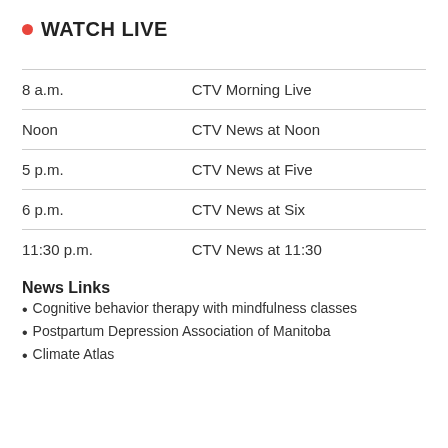WATCH LIVE
| Time | Show |
| --- | --- |
| 8 a.m. | CTV Morning Live |
| Noon | CTV News at Noon |
| 5 p.m. | CTV News at Five |
| 6 p.m. | CTV News at Six |
| 11:30 p.m. | CTV News at 11:30 |
News Links
Cognitive behavior therapy with mindfulness classes
Postpartum Depression Association of Manitoba
Climate Atlas